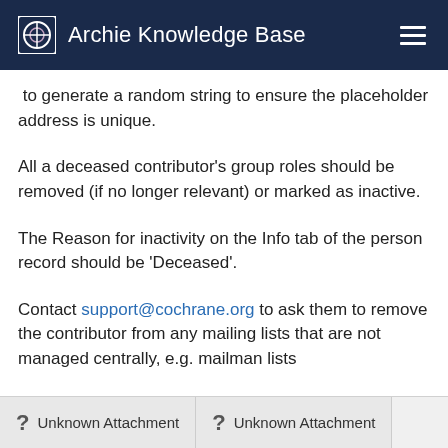Archie Knowledge Base
to generate a random string to ensure the placeholder address is unique.
All a deceased contributor's group roles should be removed (if no longer relevant) or marked as inactive.
The Reason for inactivity on the Info tab of the person record should be 'Deceased'.
Contact support@cochrane.org to ask them to remove the contributor from any mailing lists that are not managed centrally, e.g. mailman lists
[Figure (other): Two Unknown Attachment placeholder icons at the bottom of the page]